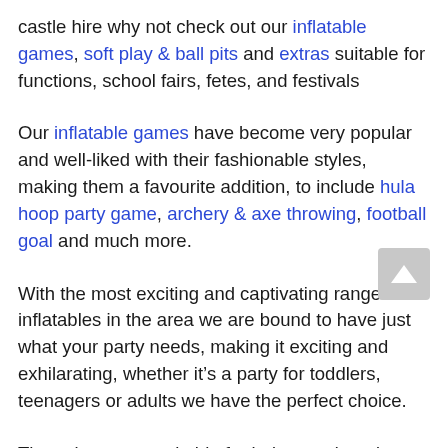castle hire why not check out our inflatable games, soft play & ball pits and extras suitable for functions, school fairs, fetes, and festivals
Our inflatable games have become very popular and well-liked with their fashionable styles, making them a favourite addition, to include hula hoop party game, archery & axe throwing, football goal and much more.
With the most exciting and captivating range of inflatables in the area we are bound to have just what your party needs, making it exciting and exhilarating, whether it’s a party for toddlers, teenagers or adults we have the perfect choice.
These items are suitable for indoor and outdoor hire and are great fun at any party, team building days...